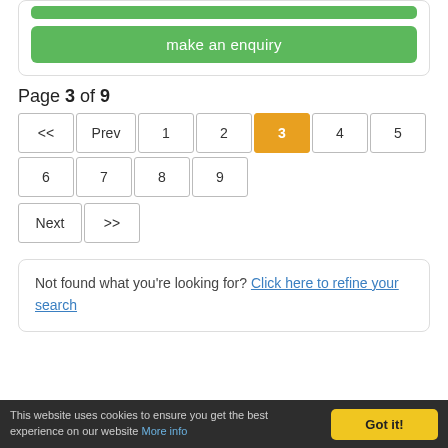[Figure (screenshot): Green button bar (partial, top of card) and a green 'make an enquiry' button inside a rounded card]
Page 3 of 9
[Figure (other): Pagination control: << Prev 1 2 [3] 4 5 6 7 8 9 Next >>]
Not found what you're looking for? Click here to refine your search
This website uses cookies to ensure you get the best experience on our website More info  Got it!